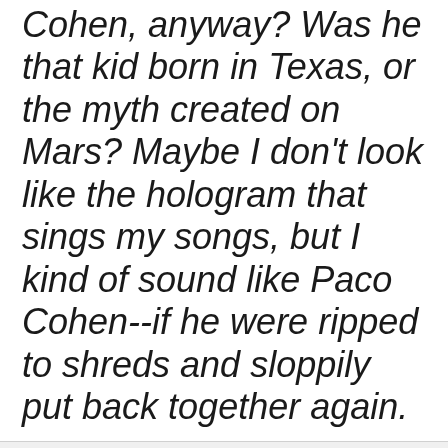Cohen, anyway? Was he that kid born in Texas, or the myth created on Mars? Maybe I don't look like the hologram that sings my songs, but I kind of sound like Paco Cohen--if he were ripped to shreds and sloppily put back together again.
at 12:00 AM   No comments:
Share
Friday, August 14, 2020
CHICANONAUTICA REVEALS THE SECRET ORIGIN OF MY FLUX